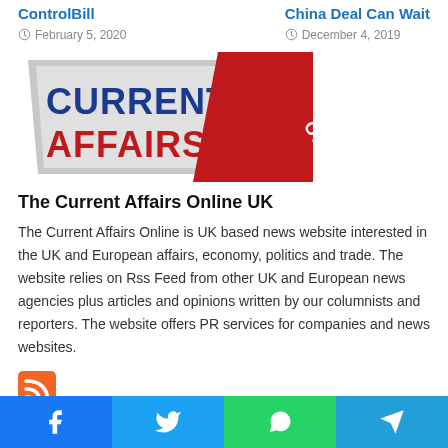ControlBill
February 5, 2020
China Deal Can Wait
December 4, 2019
[Figure (logo): Current Affairs Online UK logo with blue text and red diagonal banner with ONLINE text]
The Current Affairs Online UK
The Current Affairs Online is UK based news website interested in the UK and European affairs, economy, politics and trade. The website relies on Rss Feed from other UK and European news agencies plus articles and opinions written by our columnists and reporters. The website offers PR services for companies and news websites.
[Figure (other): RSS feed icon in orange square]
Facebook | Twitter | WhatsApp | Telegram social share buttons